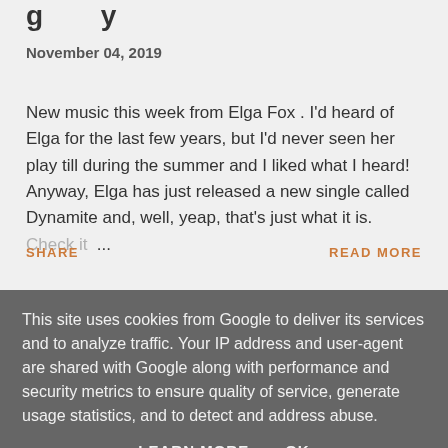g y
November 04, 2019
New music this week from Elga Fox .  I'd heard of Elga for the last few years, but I'd never seen her play till during the summer and I liked what I heard! Anyway, Elga has just released a new single called Dynamite and, well, yeap, that's just what it is. Check it ...
SHARE
READ MORE
This site uses cookies from Google to deliver its services and to analyze traffic. Your IP address and user-agent are shared with Google along with performance and security metrics to ensure quality of service, generate usage statistics, and to detect and address abuse.
LEARN MORE   OK